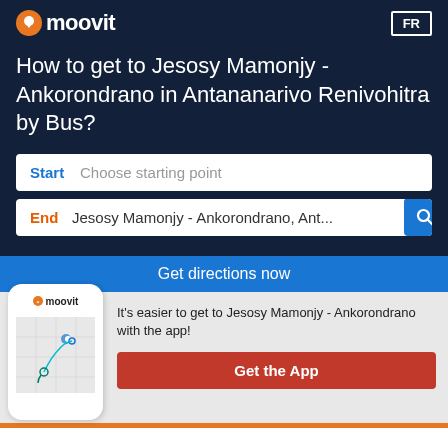moovit | FR
How to get to Jesosy Mamonjy - Ankorondrano in Antananarivo Renivohitra by Bus?
Start  Choose starting point
End  Jesosy Mamonjy - Ankorondrano, Ant...
Get directions now
[Figure (screenshot): Moovit app phone mockup showing map with route points]
It's easier to get to Jesosy Mamonjy - Ankorondrano with the app!
Get the App